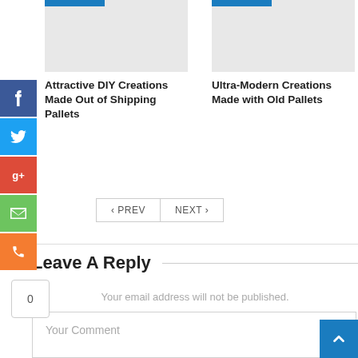[Figure (screenshot): Two article cards side by side. Left card has a blue bar at top of image placeholder and title 'Attractive DIY Creations Made Out of Shipping Pallets'. Right card has a blue bar at top and title 'Ultra-Modern Creations Made with Old Pallets'.]
Attractive DIY Creations Made Out of Shipping Pallets
Ultra-Modern Creations Made with Old Pallets
‹ PREV
NEXT ›
Leave A Reply
Your email address will not be published.
Your Comment